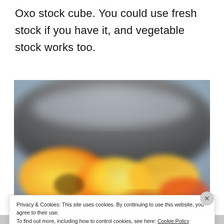Oxo stock cube. You could use fresh stock if you have it, and vegetable stock works too.
[Figure (photo): Blurred close-up photo of food in a dark pan, showing yellow and orange colored ingredients, likely vegetables being cooked.]
Privacy & Cookies: This site uses cookies. By continuing to use this website, you agree to their use.
To find out more, including how to control cookies, see here: Cookie Policy
Close and accept